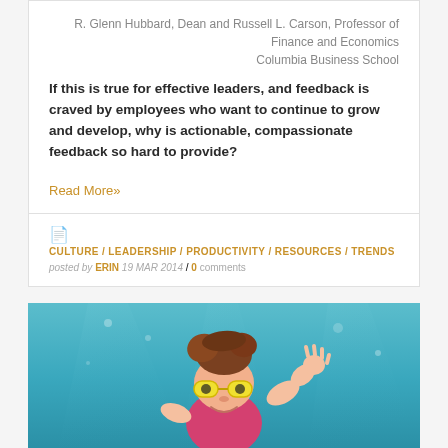R. Glenn Hubbard, Dean and Russell L. Carson, Professor of Finance and Economics Columbia Business School
If this is true for effective leaders, and feedback is craved by employees who want to continue to grow and develop, why is actionable, compassionate feedback so hard to provide?
Read More»
CULTURE / LEADERSHIP / PRODUCTIVITY / RESOURCES / TRENDS  posted by ERIN 19 MAR 2014 / 0 comments
[Figure (photo): Underwater photo of a young child with yellow swimming goggles and pink swimsuit, waving at the camera in a pool with blue-green water.]